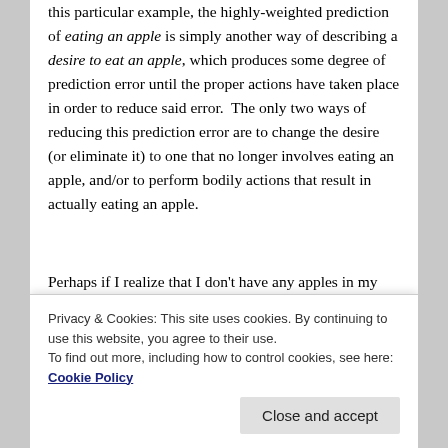this particular example, the highly-weighted prediction of eating an apple is simply another way of describing a desire to eat an apple, which produces some degree of prediction error until the proper actions have taken place in order to reduce said error.  The only two ways of reducing this prediction error are to change the desire (or eliminate it) to one that no longer involves eating an apple, and/or to perform bodily actions that result in actually eating an apple.
Perhaps if I realize that I don't have any apples in my house, but I realize that I do have bananas, then my desire will change to one that predicts my eating a banana instead.  Another way of saying this is that my higher-weighted prediction of satisfying hunger supersedes my
actually get an apple (and therefore, to actually do so).
Privacy & Cookies: This site uses cookies. By continuing to use this website, you agree to their use.
To find out more, including how to control cookies, see here: Cookie Policy